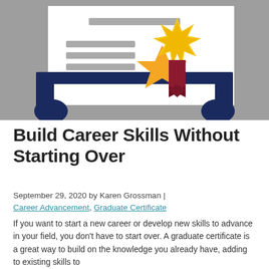[Figure (illustration): Illustration of a certificate/diploma with a gold and red ribbon/medal badge on a gray background, displayed on a dark navy blue frame stand.]
Build Career Skills Without Starting Over
September 29, 2020 by Karen Grossman | Career Advancement, Graduate Certificate
If you want to start a new career or develop new skills to advance in your field, you don't have to start over. A graduate certificate is a great way to build on the knowledge you already have, adding to existing skills to